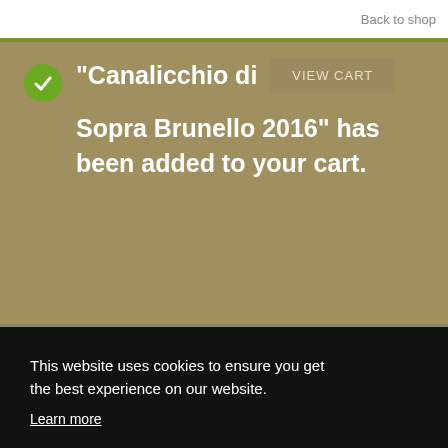Back to shop
“Canalicchio di Sopra Brunello 2016” has been added to your cart.
This website uses cookies to ensure you get the best experience on our website.
Learn more
Accept